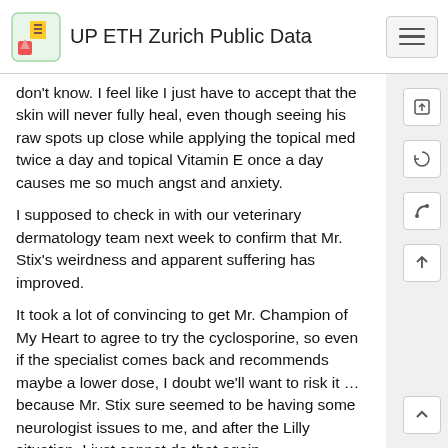UP ETH Zurich Public Data
don't know. I feel like I just have to accept that the skin will never fully heal, even though seeing his raw spots up close while applying the topical med twice a day and topical Vitamin E once a day causes me so much angst and anxiety.
I supposed to check in with our veterinary dermatology team next week to confirm that Mr. Stix's weirdness and apparent suffering has improved.
It took a lot of convincing to get Mr. Champion of My Heart to agree to try the cyclosporine, so even if the specialist comes back and recommends maybe a lower dose, I doubt we'll want to risk it … because Mr. Stix sure seemed to be having some neurologist issues to me, and after the Lilly situation, I just cannot do that again.
He is only 3 years old. I don't want to make anything worse. It honestly felt like I'd poisoned him.
The good news is that most of the time his skin doesn't seem to hurt or itch or anything – though I do have pain